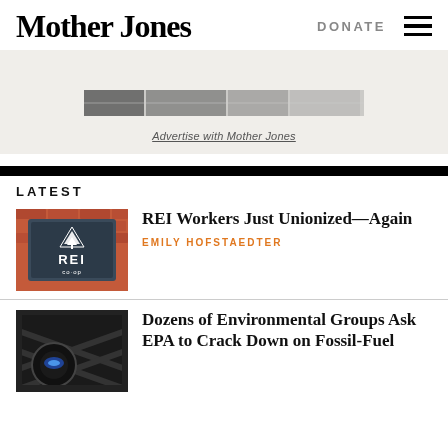Mother Jones
DONATE
[Figure (photo): Partial image strip — advertisement banner]
Advertise with Mother Jones
LATEST
[Figure (photo): REI co-op sign on brick wall]
REI Workers Just Unionized—Again
EMILY HOFSTAEDTER
[Figure (photo): Close-up of gas stove burners with blue flames]
Dozens of Environmental Groups Ask EPA to Crack Down on Fossil-Fuel